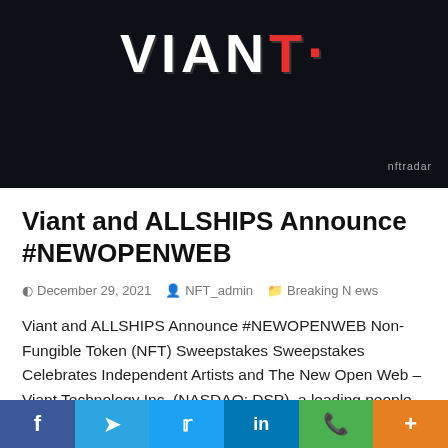[Figure (photo): Dark banner image with VIANT logo text in white and red on black background, with 'nftradar' watermark in bottom right corner]
Viant and ALLSHIPS Announce #NEWOPENWEB
December 29, 2021  NFT_admin  Breaking News
Viant and ALLSHIPS Announce #NEWOPENWEB Non-Fungible Token (NFT) Sweepstakes Sweepstakes Celebrates Independent Artists and The New Open Web –Viant Technology Inc. (NASDAQ: DSP), a leading people-based advertising software company, today announced that it has partnered with ALLSHIPS, a coalition of creative